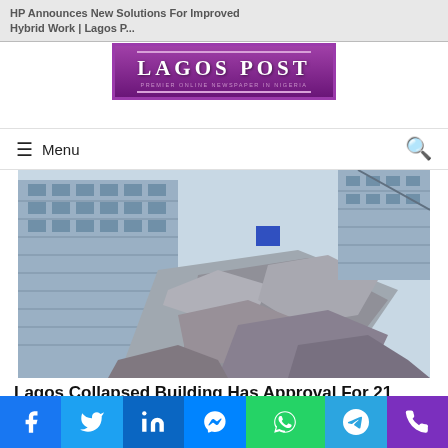HP Announces New Solutions For Improved Hybrid Work | Lagos P..
[Figure (logo): Lagos Post newspaper logo — purple/violet background with white bold text 'LAGOS POST' and tagline 'PREMIER ONLINE NEWSPAPER IN NIGERIA']
Menu (navigation bar with hamburger icon and search icon)
[Figure (photo): Collapsed multi-storey building in Lagos — debris and rubble from a high-rise building collapse, blue-grey tones]
Lagos Collapsed Building Has Approval For 21 Floors, Says Deputy Gover..
[Figure (photo): FIFA logo with international flags globe — partial view of second article thumbnail]
Social sharing bar: Facebook, Twitter, LinkedIn, Messenger, WhatsApp, Telegram, Phone